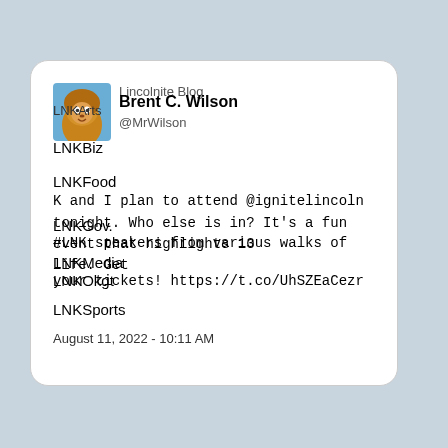[Figure (screenshot): Screenshot of a tweet card with social media navigation overlay. Shows user avatar (cartoon character), display name 'Brent C. Wilson', username '@MrWilson', navigation links (Lincolnite Blog, LNKArts, LNKBiz, LNKFood, LNKGov, LNKMedia, LNKOkgt, LNKSports), tweet text, and date.]
Lincolnite Blog
Brent C. Wilson
@MrWilson
LNKArts
LNKBiz
LNKFood
LNKGov.
LNKMedia
LNKOkgt
LNKSports
K and I plan to attend @ignitelincoln tonight. Who else is in? It's a fun event that highlights 13 #LNK speakers from various walks of life. Get your tickets! https://t.co/UhSZEaCezr
August 11, 2022 - 10:11 AM